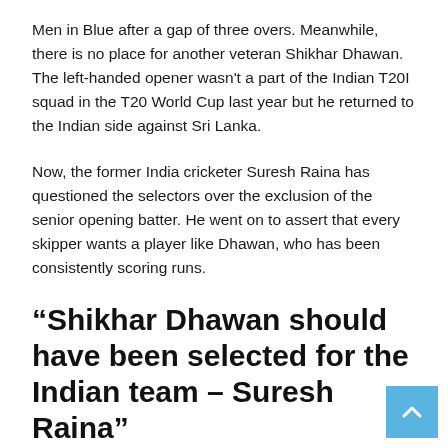Men in Blue after a gap of three overs. Meanwhile, there is no place for another veteran Shikhar Dhawan. The left-handed opener wasn't a part of the Indian T20I squad in the T20 World Cup last year but he returned to the Indian side against Sri Lanka.
Now, the former India cricketer Suresh Raina has questioned the selectors over the exclusion of the senior opening batter. He went on to assert that every skipper wants a player like Dhawan, who has been consistently scoring runs.
“Shikhar Dhawan should have been selected for the Indian team – Suresh Raina”
Speaking to fellow experts on the Star Sports Suresh Raina